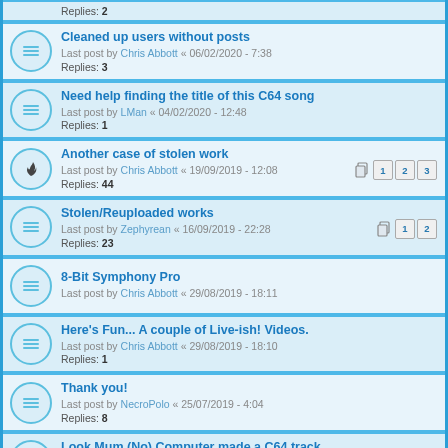Replies: 2
Cleaned up users without posts
Last post by Chris Abbott « 06/02/2020 - 7:38
Replies: 3
Need help finding the title of this C64 song
Last post by LMan « 04/02/2020 - 12:48
Replies: 1
Another case of stolen work
Last post by Chris Abbott « 19/09/2019 - 12:08
Replies: 44
Stolen/Reuploaded works
Last post by Zephyrean « 16/09/2019 - 22:28
Replies: 23
8-Bit Symphony Pro
Last post by Chris Abbott « 29/08/2019 - 18:11
Here's Fun... A couple of Live-ish! Videos.
Last post by Chris Abbott « 29/08/2019 - 18:10
Replies: 1
Thank you!
Last post by NecroPolo « 25/07/2019 - 4:04
Replies: 8
Look Mum (No) Computer made a C64 track
Last post by LMan « 23/07/2019 - 12:31
Replies: 1
Hello again from an old, forgotten member.
Last post by Mordi « 04/07/2019 - 21:49